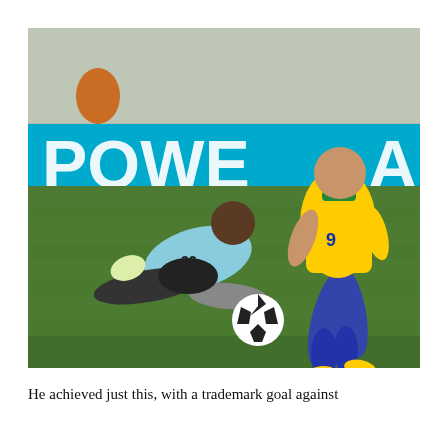[Figure (photo): A soccer match scene showing a player in a yellow Brazil jersey (number 9) running with the ball past a goalkeeper in a light blue shirt who is sliding on the grass. Advertising boards in the background show 'POWER'. The ball is a white and black World Cup 2006 Adidas Teamgeist ball.]
He achieved just this, with a trademark goal against